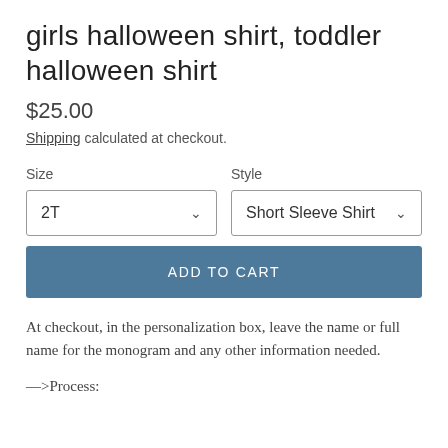girls halloween shirt, toddler halloween shirt
$25.00
Shipping calculated at checkout.
Size
2T

Style
Short Sleeve Shirt
ADD TO CART
At checkout, in the personalization box, leave the name or full name for the monogram and any other information needed.
—>Process: